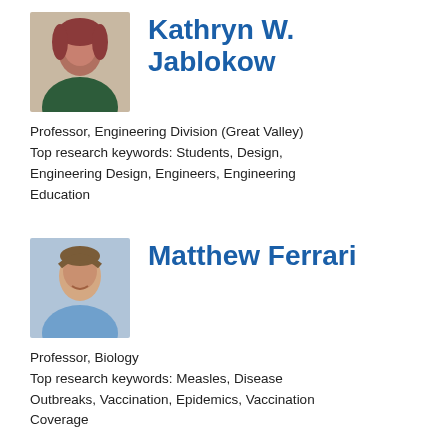[Figure (photo): Headshot photo of Kathryn W. Jablokow, a woman with reddish hair]
Kathryn W. Jablokow
Professor, Engineering Division (Great Valley)
Top research keywords: Students, Design, Engineering Design, Engineers, Engineering Education
[Figure (photo): Headshot photo of Matthew Ferrari, a man smiling in a blue shirt]
Matthew Ferrari
Professor, Biology
Top research keywords: Measles, Disease Outbreaks, Vaccination, Epidemics, Vaccination Coverage
[Figure (photo): Headshot photo of Nita Bharti, a woman]
Nita Bharti